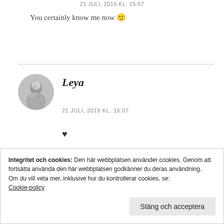21 JULI, 2019 KL. 15:57
You certainly know me now 🙂
Leya
21 JULI, 2019 KL. 16:07
♥
Integritet och cookies: Den här webbplatsen använder cookies. Genom att fortsätta använda den här webbplatsen godkänner du deras användning.
Om du vill veta mer, inklusive hur du kontrollerar cookies, se: Cookie-policy
Stäng och acceptera